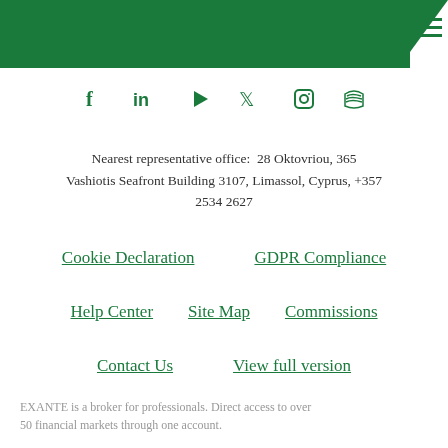EXANTE header with navigation menu
[Figure (other): Row of social media icons: Facebook, LinkedIn, Play/Video, Twitter, Instagram, RSS feed — all in green]
Nearest representative office: 28 Oktovriou, 365 Vashiotis Seafront Building 3107, Limassol, Cyprus, +357 2534 2627
Cookie Declaration
GDPR Compliance
Help Center
Site Map
Commissions
Contact Us
View full version
EXANTE is a broker for professionals. Direct access to over 50 financial markets through one account.